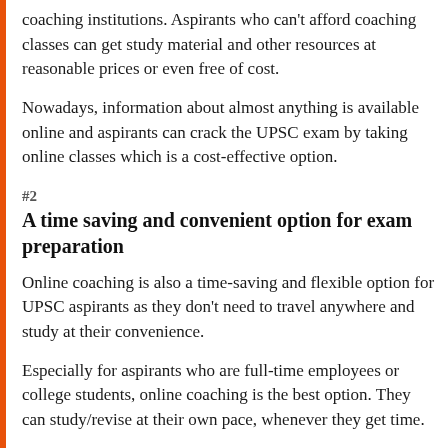coaching institutions. Aspirants who can't afford coaching classes can get study material and other resources at reasonable prices or even free of cost.
Nowadays, information about almost anything is available online and aspirants can crack the UPSC exam by taking online classes which is a cost-effective option.
#2
A time saving and convenient option for exam preparation
Online coaching is also a time-saving and flexible option for UPSC aspirants as they don't need to travel anywhere and study at their convenience.
Especially for aspirants who are full-time employees or college students, online coaching is the best option. They can study/revise at their own pace, whenever they get time.
Managing work/college and attending coaching classes